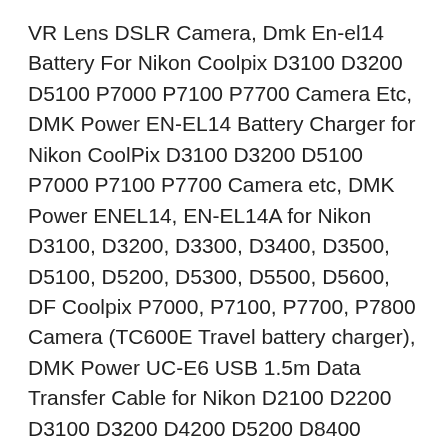VR Lens DSLR Camera, Dmk En-el14 Battery For Nikon Coolpix D3100 D3200 D5100 P7000 P7100 P7700 Camera Etc, DMK Power EN-EL14 Battery Charger for Nikon CoolPix D3100 D3200 D5100 P7000 P7100 P7700 Camera etc, DMK Power ENEL14, EN-EL14A for Nikon D3100, D3200, D3300, D3400, D3500, D5100, D5200, D5300, D5500, D5600, DF Coolpix P7000, P7100, P7700, P7800 Camera (TC600E Travel battery charger), DMK Power UC-E6 USB 1.5m Data Transfer Cable for Nikon D2100 D2200 D3100 D3200 D4200 D5200 D8400 D8800 Cameras, COOPIC BL-25D Camera Bag for Nikon D4s D800 D610 D7100 D500 D5300 D5200 D5100 D3200 D3100 etc Cameras, Neewer 48 Macro LED Ring Flash Bundle with LCD Display Power Control,Adapter Rings and Flash Diffusers for Canon 650D,600D,550D,70D,60D,5D Nikon